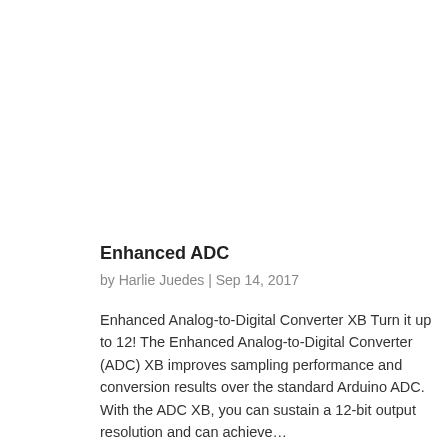Enhanced ADC
by Harlie Juedes | Sep 14, 2017
Enhanced Analog-to-Digital Converter XB Turn it up to 12! The Enhanced Analog-to-Digital Converter (ADC) XB improves sampling performance and conversion results over the standard Arduino ADC.  With the ADC XB, you can sustain a 12-bit output resolution and can achieve…